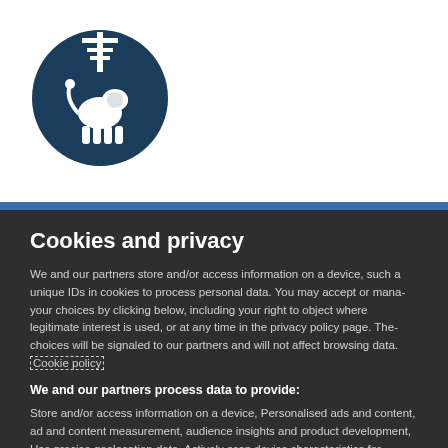[Figure (logo): Circular dark teal logo with a lion and cross/scepter emblem on white background]
Cookies and privacy
We and our partners store and/or access information on a device, such as unique IDs in cookies to process personal data. You may accept or manage your choices by clicking below, including your right to object where legitimate interest is used, or at any time in the privacy policy page. These choices will be signaled to our partners and will not affect browsing data. Cookie policy
We and our partners process data to provide:
Store and/or access information on a device, Personalised ads and content, ad and content measurement, audience insights and product development, Use precise geolocation data, Actively scan device characteristics for identification
List of Partners (vendors)